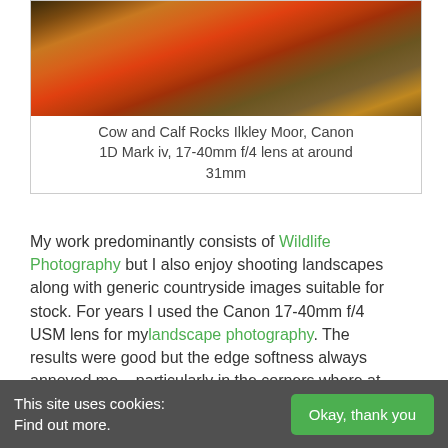[Figure (photo): Landscape photo of Cow and Calf Rocks Ilkley Moor showing brown and orange moorland terrain]
Cow and Calf Rocks Ilkley Moor, Canon 1D Mark iv, 17-40mm f/4 lens at around 31mm
My work predominantly consists of Wildlife Photography but I also enjoy shooting landscapes along with generic countryside images suitable for stock. For years I used the Canon 17-40mm f/4 USM lens for my landscape photography. The results were good but the edge softness always annoyed me – particularly in the corners where at times I felt it too unacceptable. Although I had
This site uses cookies:
Find out more.